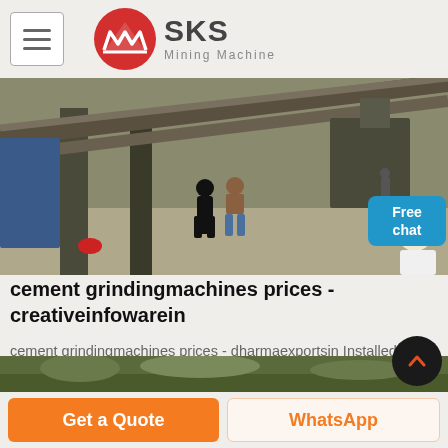SKS Mining Machine
[Figure (photo): Industrial mining site with conveyor belts and machinery; workers in foreground near large equipment structures]
cement grindingmachines prices - creativeinfowarein
cement grindingmachines prices - dharmaexportsin Installed cost comparison for cement grinding systems As the Vertical Roller Mill (VRM) becomes more widely.
[Figure (photo): Partial view of outdoor landscape/mining area, bottom of page]
Get a Quote | WhatsApp